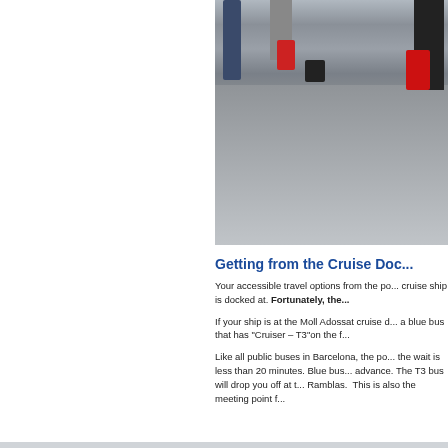[Figure (photo): People with luggage walking on a cruise terminal dock/pier, viewed from above at an angle. Shows travelers with red and dark suitcases on a grey stone/concrete surface.]
Getting from the Cruise Doc...
Your accessible travel options from the port depend on which pier the cruise ship is docked at. Fortunately, the...
If your ship is at the Moll Adossat cruise dock, look for a blue bus that has "Cruiser – T3"on the f...
Like all public buses in Barcelona, the port... the wait is less than 20 minutes. Blue bus... advance. The T3 bus will drop you off at t... Ramblas. This is also the meeting point f...